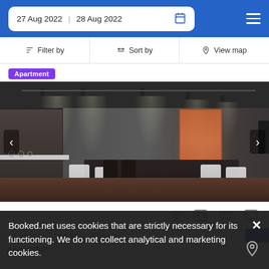27 Aug 2022   28 Aug 2022
Filter by   Sort by   View map
Apartment
[Figure (photo): Interior photo of a modern apartment showing a dark dining table with white chairs in the foreground, a kitchen area on the left, blue sofa and yellow armchairs in the middle, and orange curtains by a window in the background. Track lights on the ceiling.]
WiFi, Kitchen, Air conditioning, Desktop computer amenity icons
4 adults · 2 bedrooms · 3 beds
Aquinarium
Booked.net uses cookies that are strictly necessary for its functioning. We do not collect analytical and marketing cookies.